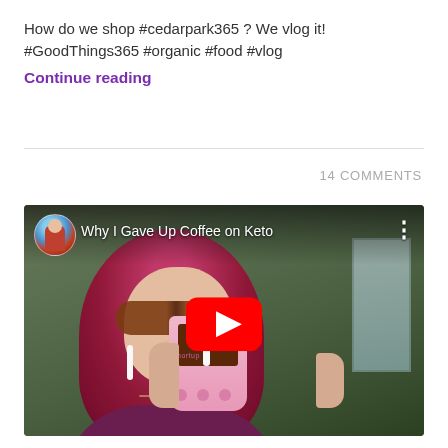How do we shop #cedarpark365 ? We vlog it! #GoodThings365 #organic #food #vlog
Continue reading
14 COMMENTS
[Figure (screenshot): YouTube video thumbnail showing a woman with red/magenta hair and sunglasses holding a pink polka-dot cup with a straw, titled 'Why I Gave Up Coffee on Keto'. A YouTube play button overlay is visible in the center.]